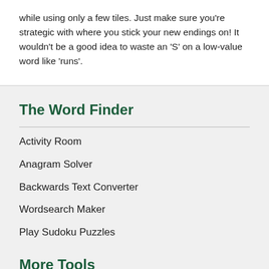while using only a few tiles. Just make sure you’re strategic with where you stick your new endings on! It wouldn’t be a good idea to waste an ‘S’ on a low-value word like ‘runs’.
The Word Finder
Activity Room
Anagram Solver
Backwards Text Converter
Wordsearch Maker
Play Sudoku Puzzles
More Tools
Word Scramble